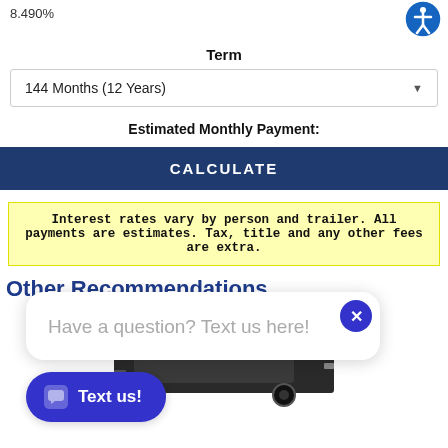8.490%
Term
144 Months (12 Years)
Estimated Monthly Payment:
CALCULATE
Interest rates vary by person and trailer. All payments are estimates. Tax, title and any other fees are extra.
Other Recommendations
[Figure (photo): Partial view of a black trailer/vehicle]
Have a question? Text us here!
Text us!